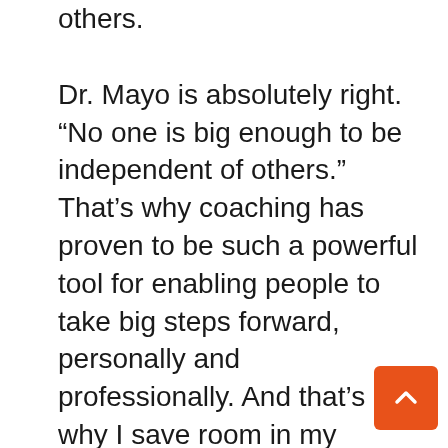others.
Dr. Mayo is absolutely right. “No one is big enough to be independent of others.” That’s why coaching has proven to be such a powerful tool for enabling people to take big steps forward, personally and professionally. And that’s why I save room in my schedule to work with a small number of people who want one-on-one coaching from me.
Chief: Demonstrates an unwavering positive attitude.
Impostor: Simply sits on the face.
In other words, they give off energy. They show enthusiasm. They project cheerfulness. And it’s just contagious